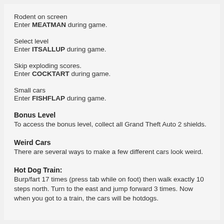Rodent on screen
Enter MEATMAN during game.
Select level
Enter ITSALLUP during game.
Skip exploding scores.
Enter COCKTART during game.
Small cars
Enter FISHFLAP during game.
Bonus Level
To access the bonus level, collect all Grand Theft Auto 2 shields.
Weird Cars
There are several ways to make a few different cars look weird.
Hot Dog Train:
Burp/fart 17 times (press tab while on foot) then walk exactly 10 steps north. Turn to the east and jump forward 3 times. Now when you got to a train, the cars will be hotdogs.